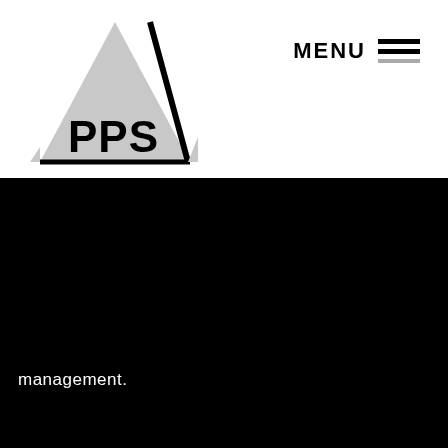[Figure (logo): PPS logo: a grey triangle with a bold diagonal black line and 'PPS' text inside, with a black baseline]
MENU ☰
management.
▶  Read More